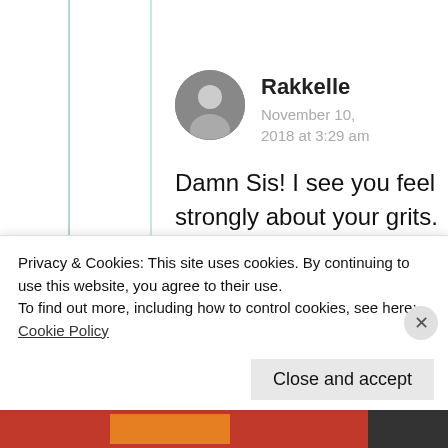[Figure (photo): Circular avatar photo of user Rakkelle, black and white portrait]
Rakkelle
November 10, 2018 at 3:29 am
Damn Sis! I see you feel strongly about your grits. 😄
★ Like
Privacy & Cookies: This site uses cookies. By continuing to use this website, you agree to their use.
To find out more, including how to control cookies, see here:
Cookie Policy
Close and accept